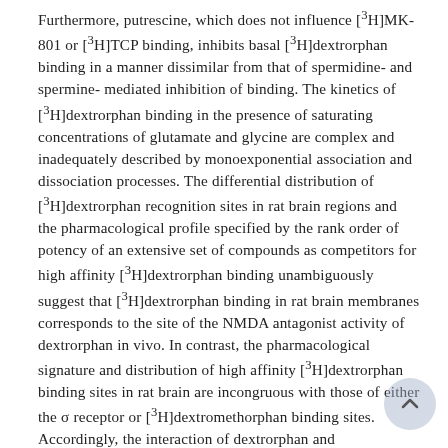Furthermore, putrescine, which does not influence [3H]MK-801 or [3H]TCP binding, inhibits basal [3H]dextrorphan binding in a manner dissimilar from that of spermidine- and spermine-mediated inhibition of binding. The kinetics of [3H]dextrorphan binding in the presence of saturating concentrations of glutamate and glycine are complex and inadequately described by monoexponential association and dissociation processes. The differential distribution of [3H]dextrorphan recognition sites in rat brain regions and the pharmacological profile specified by the rank order of potency of an extensive set of compounds as competitors for high affinity [3H]dextrorphan binding unambiguously suggest that [3H]dextrorphan binding in rat brain membranes corresponds to the site of the NMDA antagonist activity of dextrorphan in vivo. In contrast, the pharmacological signature and distribution of high affinity [3H]dextrorphan binding sites in rat brain are incongruous with those of either the σ receptor or [3H]dextromethorphan binding sites. Accordingly, the interaction of dextrorphan and dextromethorphan at sites labeled by [3H]dextrorphan, but not at sites labeled by [3H]dextromethorphan or by σ ligands, adequately accounts for the anticonvulsant and neuroprotective efficacies of these compounds in vivo.